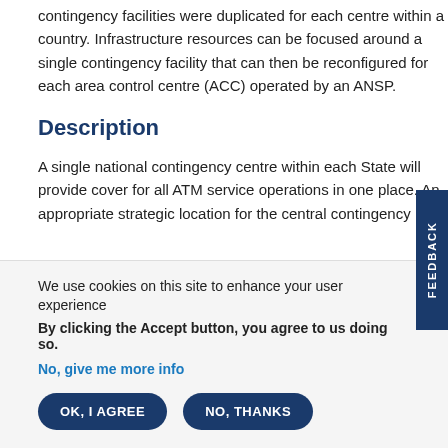contingency facilities were duplicated for each centre within a country. Infrastructure resources can be focused around a single contingency facility that can then be reconfigured for each area control centre (ACC) operated by an ANSP.
Description
A single national contingency centre within each State will provide cover for all ATM service operations in one place. An appropriate strategic location for the central contingency
We use cookies on this site to enhance your user experience
By clicking the Accept button, you agree to us doing so.
No, give me more info
OK, I AGREE
NO, THANKS